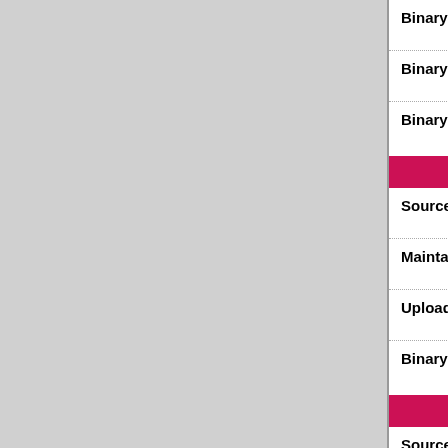| Field | Value |
| --- | --- |
| Binary: | libconsensusscore- |
| Binary: | python-pbconsens |
| Binary: | python3-pbconser |
| Field | Value |
| --- | --- |
| Source: | conservation-code |
| Maintainer: | Debian Med Pack |
| Uploaders: | Laszlo Kajan <lka |
| Binary: | conservation-code |
| Field | Value |
| --- | --- |
| Source: | crac |
| Maintainer: | Debian Med Pack |
| Uploaders: | Andreas Tille <tille |
| Binary: | crac |